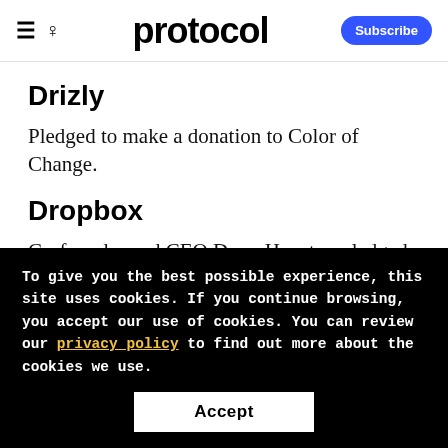protocol | Subscribe
Drizly
Pledged to make a donation to Color of Change.
Dropbox
Co-founder and CEO Drew Houston pledged
To give you the best possible experience, this site uses cookies. If you continue browsing, you accept our use of cookies. You can review our privacy policy to find out more about the cookies we use.
Accept